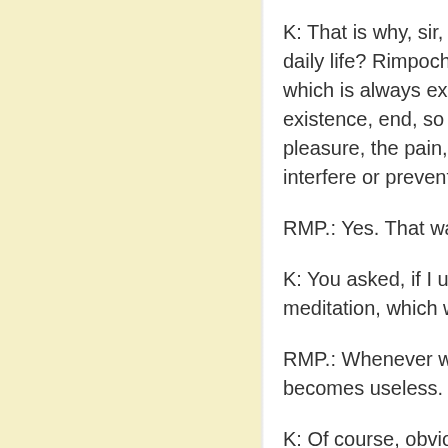K: That is why, sir, I beg daily life? Rimpocheji, I which is always exerting existence, end, so that i pleasure, the pain, the a interfere or prevent pure
RMP.: Yes. That was the
K: You asked, if I unders meditation, which will en
RMP.: Whenever we try becomes useless. That
K: Of course, obviously.
RMP.: Now, how to obse
K: What is the quality o